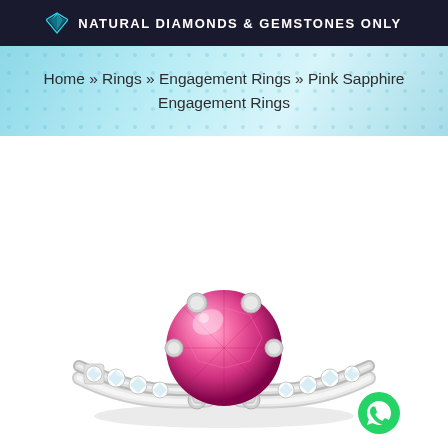NATURAL DIAMONDS & GEMSTONES ONLY
Home » Rings » Engagement Rings » Pink Sapphire Engagement Rings
[Figure (photo): A pink sapphire solitaire engagement ring with a large round pink sapphire center stone set in white gold or platinum, with channel-set diamonds along the split shank band. A WhatsApp contact button appears in the lower right.]